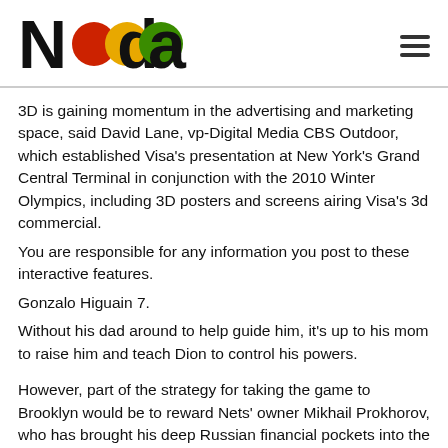Nada
3D is gaining momentum in the advertising and marketing space, said David Lane, vp-Digital Media CBS Outdoor, which established Visa's presentation at New York's Grand Central Terminal in conjunction with the 2010 Winter Olympics, including 3D posters and screens airing Visa's 3d commercial.
You are responsible for any information you post to these interactive features.
Gonzalo Higuain 7.
Without his dad around to help guide him, it's up to his mom to raise him and teach Dion to control his powers.
However, part of the strategy for taking the game to Brooklyn would be to reward Nets' owner Mikhail Prokhorov, who has brought his deep Russian financial pockets into the league and been a major catalyst in opening Russia for NBA growth.